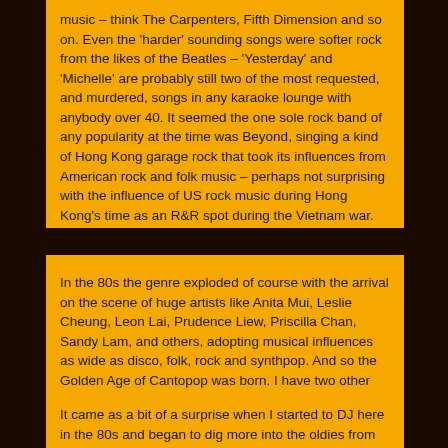music – think The Carpenters, Fifth Dimension and so on. Even the 'harder' sounding songs were softer rock from the likes of the Beatles – 'Yesterday' and 'Michelle' are probably still two of the most requested, and murdered, songs in any karaoke lounge with anybody over 40. It seemed the one sole rock band of any popularity at the time was Beyond, singing a kind of Hong Kong garage rock that took its influences from American rock and folk music – perhaps not surprising with the influence of US rock music during Hong Kong's time as an R&R spot during the Vietnam war.
In the 80s the genre exploded of course with the arrival on the scene of huge artists like Anita Mui, Leslie Cheung, Leon Lai, Prudence Liew, Priscilla Chan, Sandy Lam, and others, adopting musical influences as wide as disco, folk, rock and synthpop. And so the Golden Age of Cantopop was born. I have two other blogcasts highlighting music from these eras can be found in the blogcast archives.
It came as a bit of a surprise when I started to DJ here in the 80s and began to dig more into the oldies from Hong Kong's